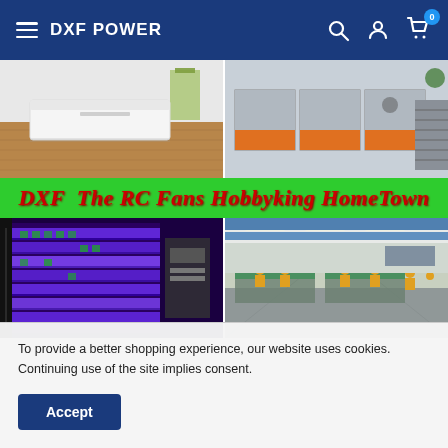DXF POWER
[Figure (photo): Two office/showroom photos side by side: left shows a white reception desk on hardwood floor, right shows an open office with cubicles in orange and grey]
DXF  The RC Fans Hobbyking HomeTown
[Figure (photo): Two factory/warehouse photos side by side: left shows shelving units lit with purple/UV light, right shows a factory floor with workers in yellow uniforms at assembly lines]
To provide a better shopping experience, our website uses cookies. Continuing use of the site implies consent.
Accept